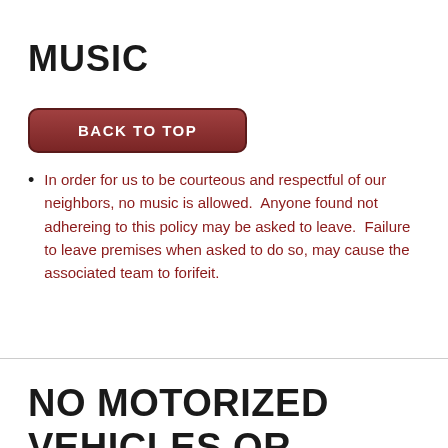MUSIC
[Figure (other): Red rounded-rectangle button reading BACK TO TOP in bold white uppercase letters]
In order for us to be courteous and respectful of our neighbors, no music is allowed.  Anyone found not adhereing to this policy may be asked to leave.  Failure to leave premises when asked to do so, may cause the associated team to forifeit.
NO MOTORIZED VEHICLES OR SCOOTERS INSIDE THE GATES